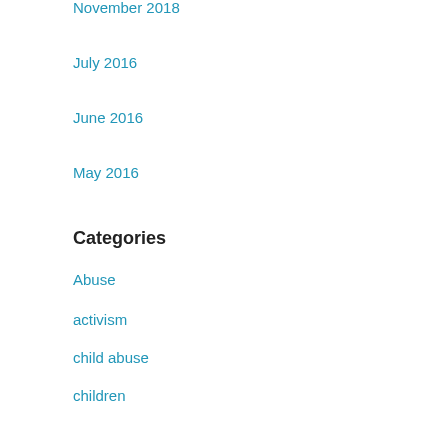November 2018
July 2016
June 2016
May 2016
Categories
Abuse
activism
child abuse
children
class
Feminism
parenting
poetry